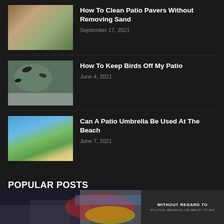[Figure (photo): Thumbnail of stone patio pavers]
How To Clean Patio Pavers Without Removing Sand
September 17, 2021
[Figure (photo): Thumbnail of birds on a patio balcony]
How To Keep Birds Off My Patio
June 4, 2021
[Figure (photo): Thumbnail of green patio umbrella at a beach]
Can A Patio Umbrella Be Used At The Beach
June 7, 2021
POPULAR POSTS
[Figure (photo): Advertisement banner showing airplanes with text WITHOUT REGARD TO]